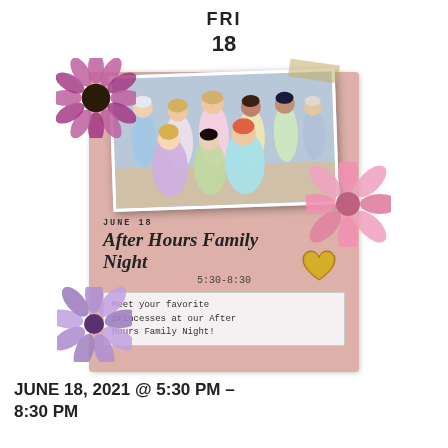FRI
18
[Figure (illustration): Event flyer for After Hours Family Night on June 18. Pink background with decorative pressed flowers, a photo of Disney princess cosplay characters at the top, gold tape accent, gold heart decoration, and a note box. Text reads: JUNE 18, After Hours Family Night, 5:30-8:30, Meet your favorite princesses at our After Hours Family Night!]
JUNE 18, 2021 @ 5:30 PM – 8:30 PM